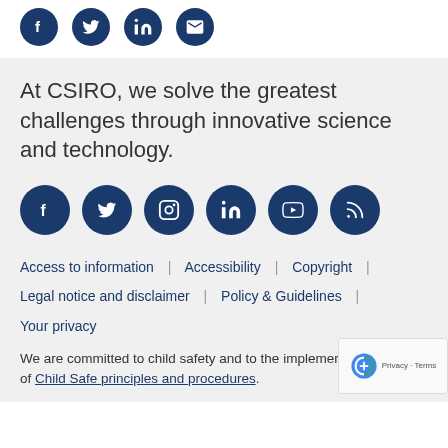[Figure (other): Top social media icons row: Facebook, Twitter, LinkedIn, Email — dark navy circles with white icons]
At CSIRO, we solve the greatest challenges through innovative science and technology.
[Figure (other): Bottom social media icons row: Facebook, Twitter, Instagram, LinkedIn, YouTube, RSS — dark navy circles with white icons]
Access to information | Accessibility | Copyright | Legal notice and disclaimer | Policy & Guidelines | Your privacy
We are committed to child safety and to the implementation of Child Safe principles and procedures.